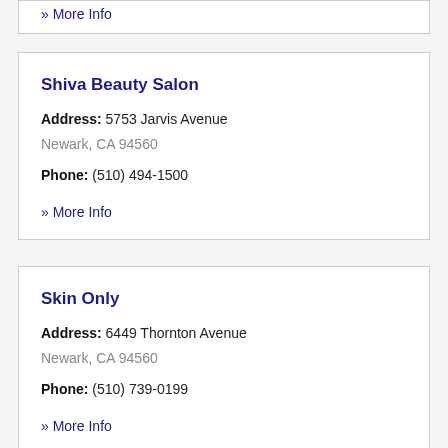» More Info
Shiva Beauty Salon
Address: 5753 Jarvis Avenue
Newark, CA 94560
Phone: (510) 494-1500
» More Info
Skin Only
Address: 6449 Thornton Avenue
Newark, CA 94560
Phone: (510) 739-0199
» More Info